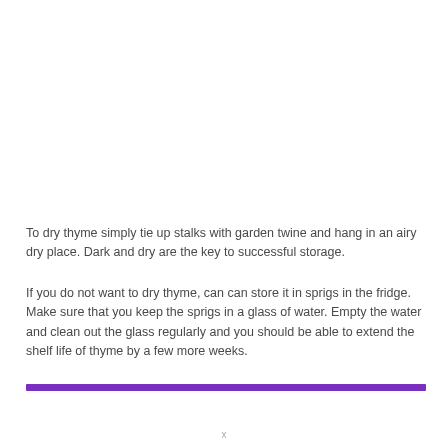To dry thyme simply tie up stalks with garden twine and hang in an airy dry place. Dark and dry are the key to successful storage.
If you do not want to dry thyme, can can store it in sprigs in the fridge. Make sure that you keep the sprigs in a glass of water. Empty the water and clean out the glass regularly and you should be able to extend the shelf life of thyme by a few more weeks.
x